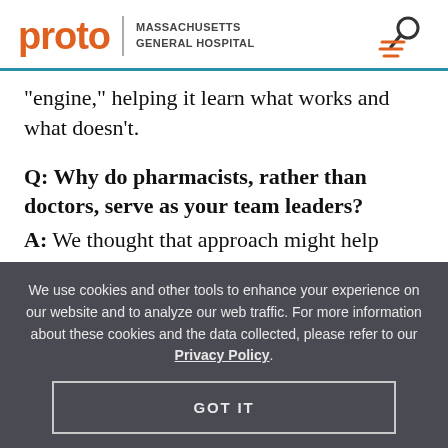proto | MASSACHUSETTS GENERAL HOSPITAL
“engine,” helping it learn what works and what doesn’t.
Q: Why do pharmacists, rather than doctors, serve as your team leaders?
A: We thought that approach might help
We use cookies and other tools to enhance your experience on our website and to analyze our web traffic. For more information about these cookies and the data collected, please refer to our Privacy Policy.
GOT IT